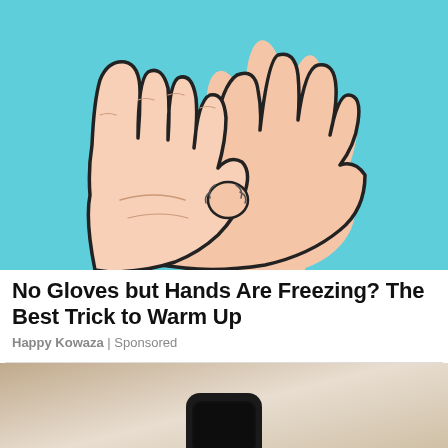[Figure (illustration): Illustrated cartoon-style image of two hands on a light blue background. One hand is open with palm facing viewer, the other hand has its thumb pressed into the palm of the first hand, suggesting a hand-warming massage technique.]
No Gloves but Hands Are Freezing? The Best Trick to Warm Up
Happy Kowaza | Sponsored
[Figure (photo): Partial photo of a black smartwatch/wearable device on a beige/tan gradient background, cropped at bottom of page.]